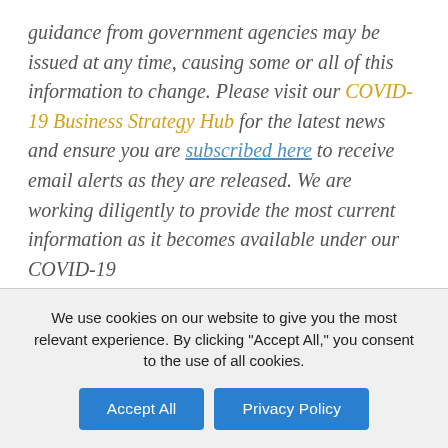guidance from government agencies may be issued at any time, causing some or all of this information to change. Please visit our COVID-19 Business Strategy Hub for the latest news and ensure you are subscribed here to receive email alerts as they are released. We are working diligently to provide the most current information as it becomes available under our COVID-19
We use cookies on our website to give you the most relevant experience. By clicking "Accept All," you consent to the use of all cookies.